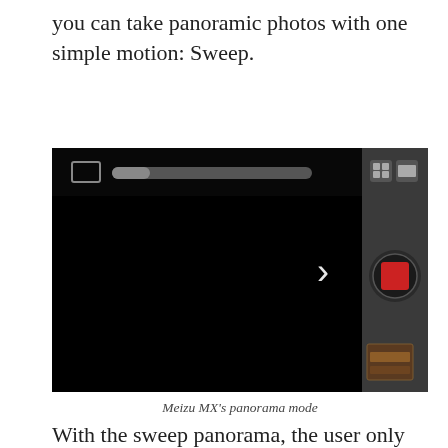you can take panoramic photos with one simple motion: Sweep.
[Figure (screenshot): Meizu MX smartphone camera app in panorama/sweep mode. The screen shows a mostly black viewfinder with a small white rectangle icon and a gray progress bar at the top left. On the right side panel there are two small square icons at the top, a white chevron arrow pointing right in the middle, a large circular red shutter button, and a small thumbnail image at the bottom. The panel background is dark gray.]
Meizu MX's panorama mode
With the sweep panorama, the user only have to sweep the camera to capture the panorama. The quality of the panorama is satisfactory (as you can see